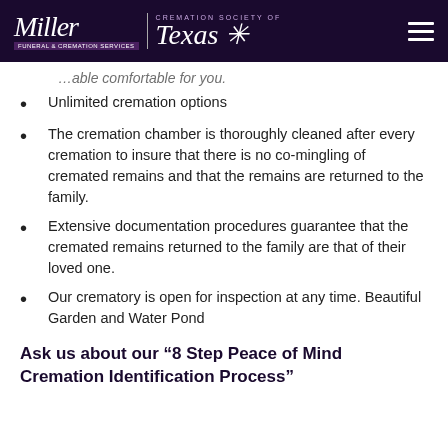Miller Funeral & Cremation Services | Cremation Society of Texas
…able comfortable for you.
Unlimited cremation options
The cremation chamber is thoroughly cleaned after every cremation to insure that there is no co-mingling of cremated remains and that the remains are returned to the family.
Extensive documentation procedures guarantee that the cremated remains returned to the family are that of their loved one.
Our crematory is open for inspection at any time. Beautiful Garden and Water Pond
Ask us about our “8 Step Peace of Mind Cremation Identification Process”